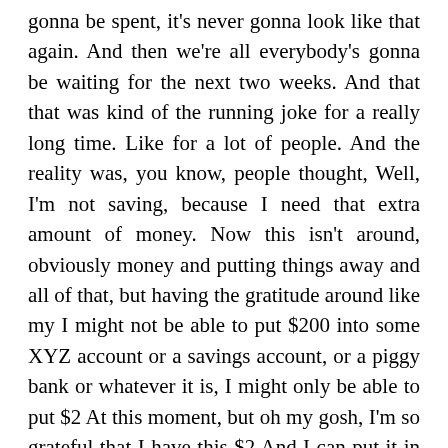gonna be spent, it's never gonna look like that again. And then we're all everybody's gonna be waiting for the next two weeks. And that that was kind of the running joke for a really long time. Like for a lot of people. And the reality was, you know, people thought, Well, I'm not saving, because I need that extra amount of money. Now this isn't around, obviously money and putting things away and all of that, but having the gratitude around like my I might not be able to put $200 into some XYZ account or a savings account, or a piggy bank or whatever it is, I might only be able to put $2 At this moment, but oh my gosh, I'm so grateful that I have this $2 And I can put it in this piggy bank or I could put it in this account, and that it has the potential to grow and that I was able to do this and the gratitude around that versus how little it is and training ourselves to not think of it that way.